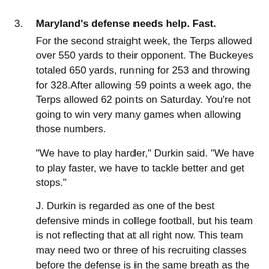3. Maryland's defense needs help. Fast. For the second straight week, the Terps allowed over 550 yards to their opponent. The Buckeyes totaled 650 yards, running for 253 and throwing for 328.After allowing 59 points a week ago, the Terps allowed 62 points on Saturday. You're not going to win very many games when allowing those numbers.

"We have to play harder," Durkin said. "We have to play faster, we have to tackle better and get stops."

J. Durkin is regarded as one of the best defensive minds in college football, but his team is not reflecting that at all right now. This team may need two or three of his recruiting classes before the defense is in the same breath as the ones he coached as an assistant at Florida and Michigan.